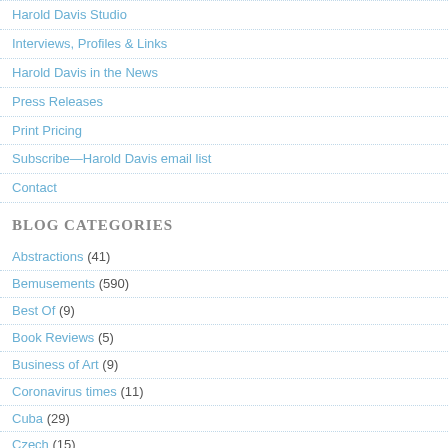Harold Davis Studio
Interviews, Profiles & Links
Harold Davis in the News
Press Releases
Print Pricing
Subscribe—Harold Davis email list
Contact
BLOG CATEGORIES
Abstractions (41)
Bemusements (590)
Best Of (9)
Book Reviews (5)
Business of Art (9)
Coronavirus times (11)
Cuba (29)
Czech (15)
Digital Night (286)
Equipment (3)
Flickr (18)